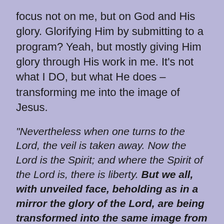focus not on me, but on God and His glory. Glorifying Him by submitting to a program? Yeah, but mostly giving Him glory through His work in me. It’s not what I DO, but what He does – transforming me into the image of Jesus.
“Nevertheless when one turns to the Lord, the veil is taken away. Now the Lord is the Spirit; and where the Spirit of the Lord is, there is liberty. But we all, with unveiled face, beholding as in a mirror the glory of the Lord, are being transformed into the same image from glory to glory, just as by the Spirit of the Lord.” 2 Corinthians 3:16-18
I’ve never looked in a mirror and said, “God’s glory!”